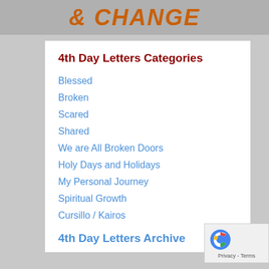& CHANGE
4th Day Letters Categories
Blessed
Broken
Scared
Shared
We are All Broken Doors
Holy Days and Holidays
My Personal Journey
Spiritual Growth
Cursillo / Kairos
4th Day Letters Archive